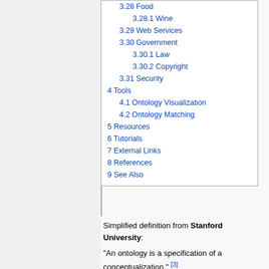3.28 Food
3.28.1 Wine
3.29 Web Services
3.30 Government
3.30.1 Law
3.30.2 Copyright
3.31 Security
4 Tools
4.1 Ontology Visualization
4.2 Ontology Matching
5 Resources
6 Tutorials
7 External Links
8 References
9 See Also
Simplified definition from Stanford University:
"An ontology is a specification of a conceptualization." [3]